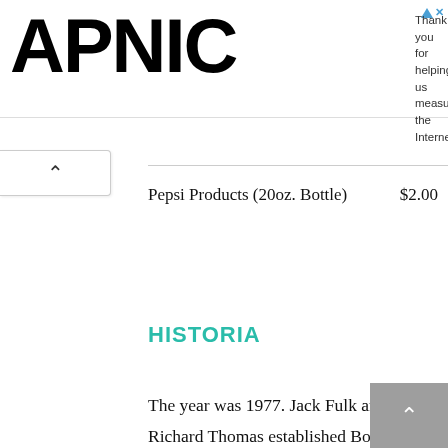APNIC — Thank you for helping us measure the Internet.
Pepsi Products (20oz. Bottle)    $2.00
HISTORIA
The year was 1977. Jack Fulk and Richard Thomas established Bojangles' famous Chicken and Biscuits. Their aim was to create a fast-service restaurant chain that has three distinct characteristics: distinct flavor profiles along with a festive and enjoyable restaurant that offers fast and courteous service, and healthy food